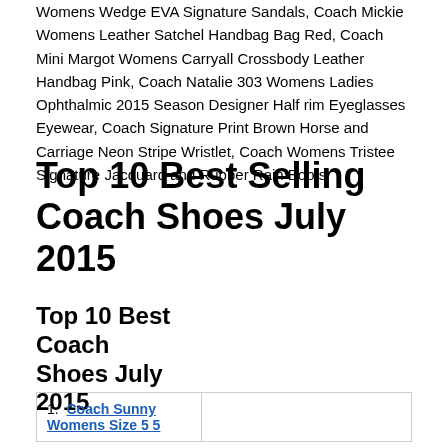Womens Wedge EVA Signature Sandals, Coach Mickie Womens Leather Satchel Handbag Bag Red, Coach Mini Margot Womens Carryall Crossbody Leather Handbag Pink, Coach Natalie 303 Womens Ladies Ophthalmic 2015 Season Designer Half rim Eyeglasses Eyewear, Coach Signature Print Brown Horse and Carriage Neon Stripe Wristlet, Coach Womens Tristee Signature Jacquard and Rubber Rain Boots
Top 10 Best Selling Coach Shoes July 2015
Top 10 Best Coach Shoes July 2015
| 1. Coach Sunny Womens Size 5 5 |  |